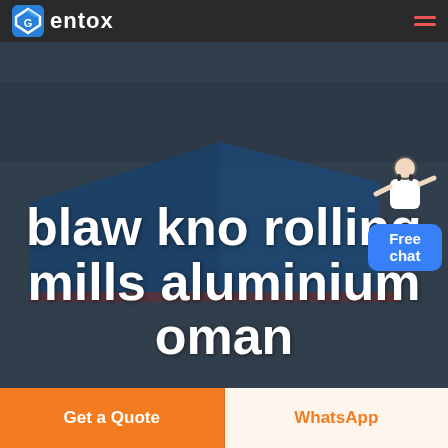Gentox — navigation bar with logo and hamburger menu
[Figure (photo): Aerial view of a large industrial facility with blue roofed warehouses/rolling mills, dark overlay, used as hero background image.]
blaw kno rolling mills aluminium oman
[Figure (illustration): Customer service representative figure (woman in white) with a blue 'Free chat' button box below her.]
Free chat
Get a Quote
WhatsApp